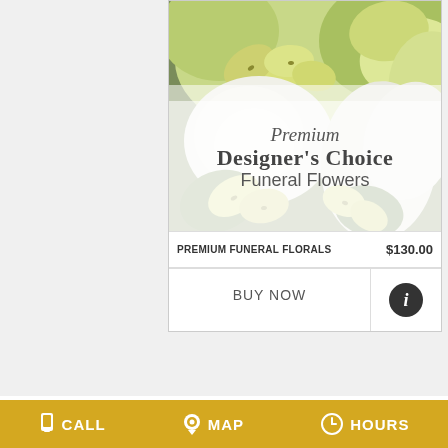[Figure (photo): Close-up photo of yellow-green and white floral arrangement including alstroemeria and gladiolus, with a semi-transparent white overlay banner showing 'Premium Designer's Choice Funeral Flowers' text]
PREMIUM FUNERAL FLORALS   $130.00
BUY NOW
CALL   MAP   HOURS